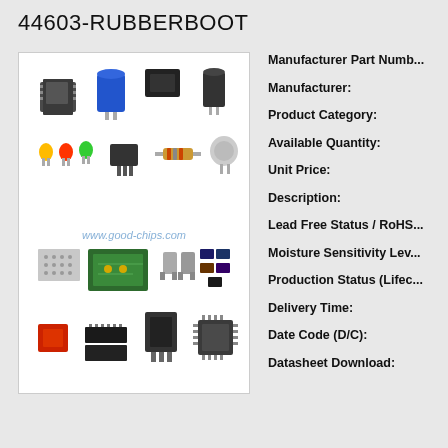44603-RUBBERBOOT
[Figure (illustration): Isometric illustration of various electronic components including chips, capacitors, resistors, transistors, LEDs, circuit boards, and other electronic parts. Website watermark: www.good-chips.com]
Manufacturer Part Number:
Manufacturer:
Product Category:
Available Quantity:
Unit Price:
Description:
Lead Free Status / RoHS:
Moisture Sensitivity Level:
Production Status (Lifecycle):
Delivery Time:
Date Code (D/C):
Datasheet Download: